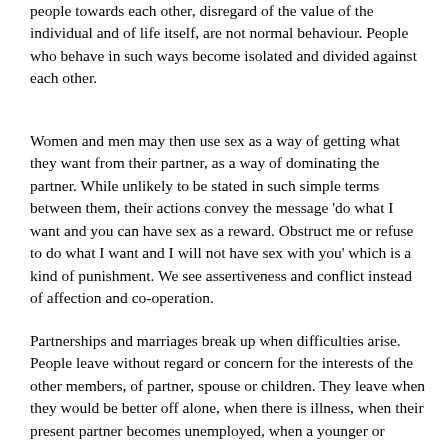people towards each other, disregard of the value of the individual and of life itself, are not normal behaviour. People who behave in such ways become isolated and divided against each other.
Women and men may then use sex as a way of getting what they want from their partner, as a way of dominating the partner. While unlikely to be stated in such simple terms between them, their actions convey the message 'do what I want and you can have sex as a reward. Obstruct me or refuse to do what I want and I will not have sex with you' which is a kind of punishment. We see assertiveness and conflict instead of affection and co-operation.
Partnerships and marriages break up when difficulties arise. People leave without regard or concern for the interests of the other members, of partner, spouse or children. They leave when they would be better off alone, when there is illness, when their present partner becomes unemployed, when a younger or wealthier 'partner' becomes available.